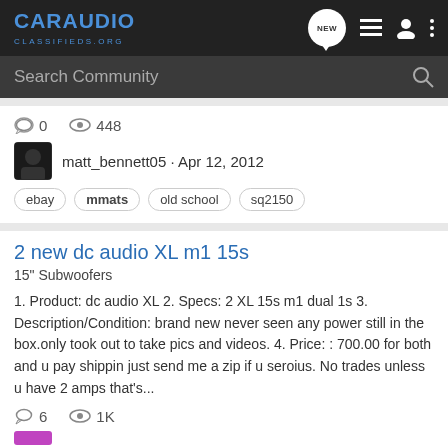CarAudio Classifieds.org
Search Community
0  448
matt_bennett05 · Apr 12, 2012
ebay  mmats  old school  sq2150
2 new dc audio XL m1 15s
15" Subwoofers
1. Product: dc audio XL 2. Specs: 2 XL 15s m1 dual 1s 3. Description/Condition: brand new never seen any power still in the box.only took out to take pics and videos. 4. Price: : 700.00 for both and u pay shippin just send me a zip if u seroius. No trades unless u have 2 amps that's...
6  1K